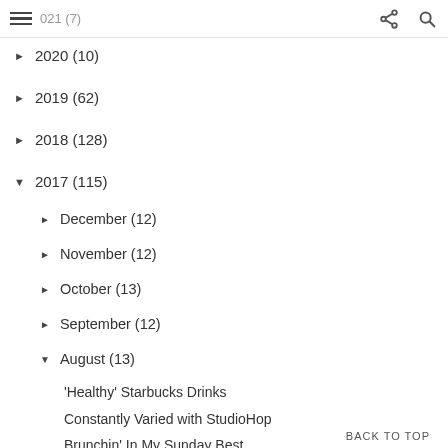2022 (3) | 2021 (7) | [share] [search]
► 2020 (10)
► 2019 (62)
► 2018 (128)
▼ 2017 (115)
► December (12)
► November (12)
► October (13)
► September (12)
▼ August (13)
'Healthy' Starbucks Drinks
Constantly Varied with StudioHop
Brunchin' In My Sunday Best
Gym Hair Don't Care
Work Week Chic
Friday Favorites
What to Wear for Photoshoots
BACK TO TOP